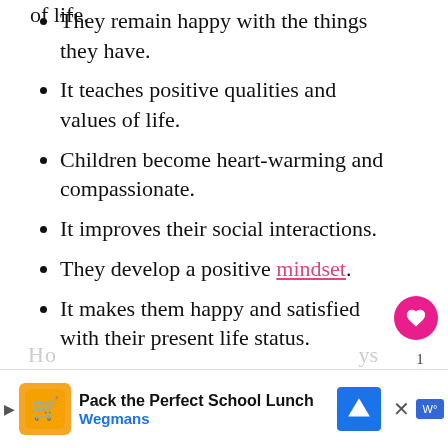of life.
They remain happy with the things they have.
It teaches positive qualities and values of life.
Children become heart-warming and compassionate.
It improves their social interactions.
They develop a positive mindset.
It makes them happy and satisfied with their present life status.
[Figure (screenshot): Advertisement banner for Wegmans 'Pack the Perfect School Lunch' with logo, navigation arrow icon, close button, and app icons at bottom right.]